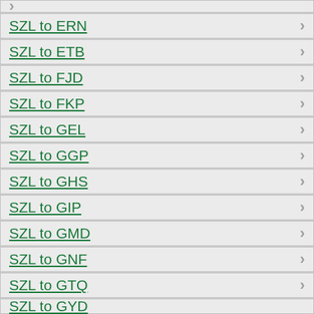SZL to ERN
SZL to ETB
SZL to FJD
SZL to FKP
SZL to GEL
SZL to GGP
SZL to GHS
SZL to GIP
SZL to GMD
SZL to GNF
SZL to GTQ
SZL to GYD